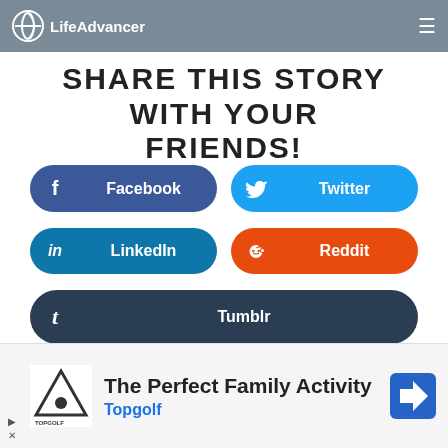LifeAdvancer
SHARE THIS STORY WITH YOUR FRIENDS!
[Figure (infographic): Social share buttons: Facebook (dark blue), Twitter (light blue), LinkedIn (teal blue), Reddit (orange), Tumblr (dark navy)]
By continuing to use this website, you consent to the use of cookies in accordance our Cookie Policy.
[Figure (infographic): Advertisement for Topgolf: The Perfect Family Activity]